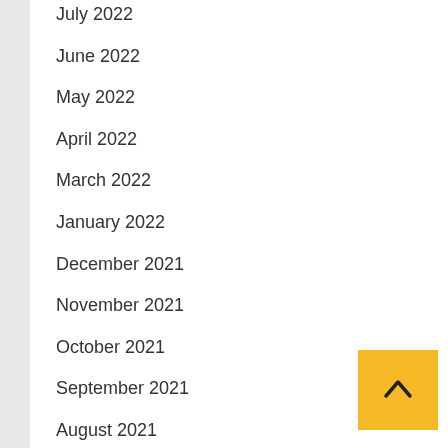July 2022
June 2022
May 2022
April 2022
March 2022
January 2022
December 2021
November 2021
October 2021
September 2021
August 2021
July 2021
June 2021
May 2021